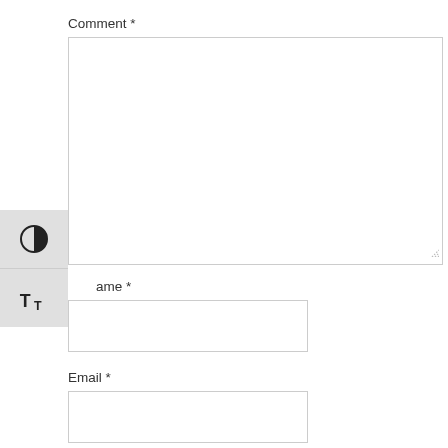Comment *
[Figure (screenshot): Large empty comment textarea with resize handle at bottom-right corner]
[Figure (screenshot): Floating toolbar on left side with two buttons: a contrast/half-circle icon and a text size (tT) icon]
Name *
[Figure (screenshot): Empty Name input text field]
Email *
[Figure (screenshot): Empty Email input text field]
Website